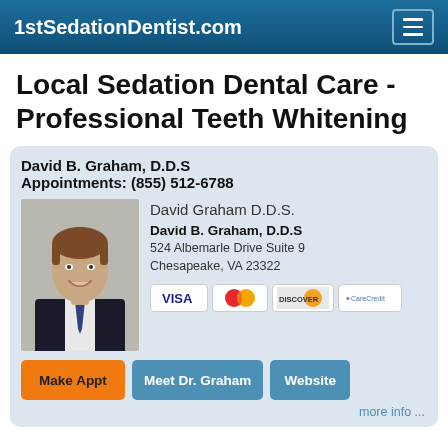1stSedationDentist.com
Local Sedation Dental Care - Professional Teeth Whitening
David B. Graham, D.D.S
Appointments: (855) 512-6788
[Figure (photo): Headshot photo of Dr. David B. Graham, a man in a dark suit with a tie, smiling.]
David Graham D.D.S.

David B. Graham, D.D.S
524 Albemarle Drive Suite 9
Chesapeake, VA 23322
[Figure (other): Payment method icons: VISA, MasterCard, Discover, CareCredit]
Make Appt   Meet Dr. Graham   Website
more info ...